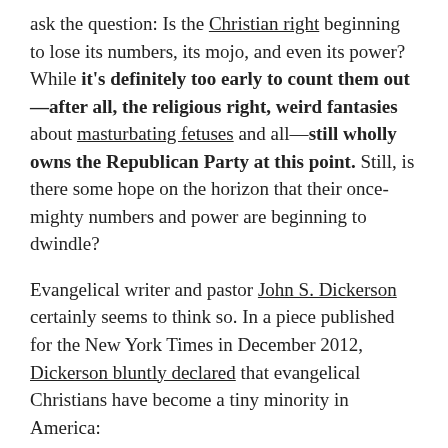ask the question: Is the Christian right beginning to lose its numbers, its mojo, and even its power? While it's definitely too early to count them out—after all, the religious right, weird fantasies about masturbating fetuses and all—still wholly owns the Republican Party at this point. Still, is there some hope on the horizon that their once-mighty numbers and power are beginning to dwindle?
Evangelical writer and pastor John S. Dickerson certainly seems to think so. In a piece published for the New York Times in December 2012, Dickerson bluntly declared that evangelical Christians have become a tiny minority in America:
In the 1980s heyday of the Rev. Jerry Falwell's